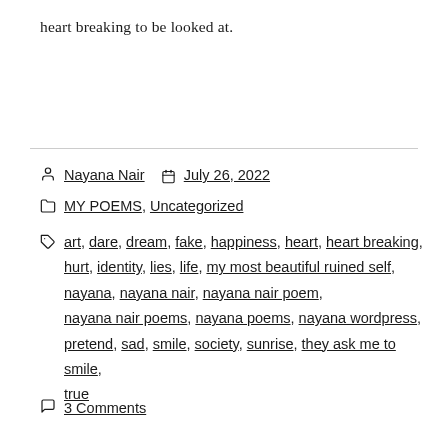heart breaking to be looked at.
Nayana Nair   July 26, 2022
MY POEMS, Uncategorized
art, dare, dream, fake, happiness, heart, heart breaking, hurt, identity, lies, life, my most beautiful ruined self, nayana, nayana nair, nayana nair poem, nayana nair poems, nayana poems, nayana wordpress, pretend, sad, smile, society, sunrise, they ask me to smile, true
3 Comments